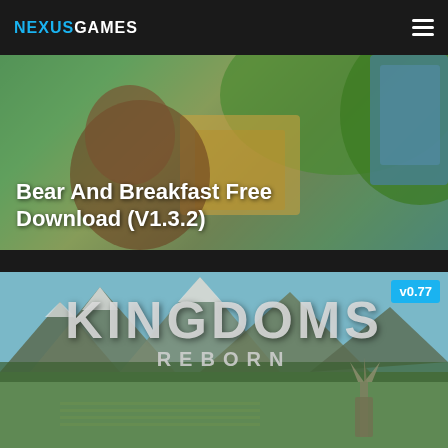NEXUSGAMES
[Figure (screenshot): Bear And Breakfast game promotional banner with colorful illustrated bear scene background]
Bear And Breakfast Free Download (V1.3.2)
[Figure (screenshot): Kingdoms Reborn game promotional banner showing mountainous landscape with farms and windmill, version badge v0.77 in top right corner]